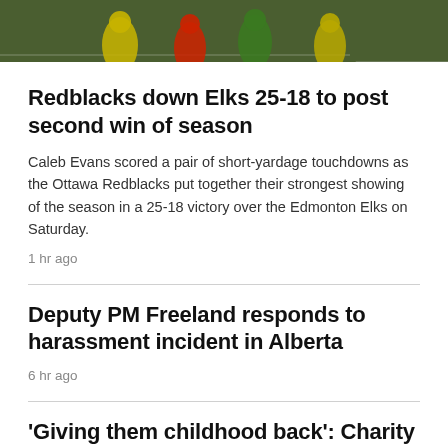[Figure (photo): Football players on a green field, players wearing green/yellow and red uniforms. A smaller inset photo appears in the upper right corner.]
Redblacks down Elks 25-18 to post second win of season
Caleb Evans scored a pair of short-yardage touchdowns as the Ottawa Redblacks put together their strongest showing of the season in a 25-18 victory over the Edmonton Elks on Saturday.
1 hr ago
Deputy PM Freeland responds to harassment incident in Alberta
6 hr ago
'Giving them childhood back': Charity offers displaced Ukrainian youth fun and friends
5 hr ago